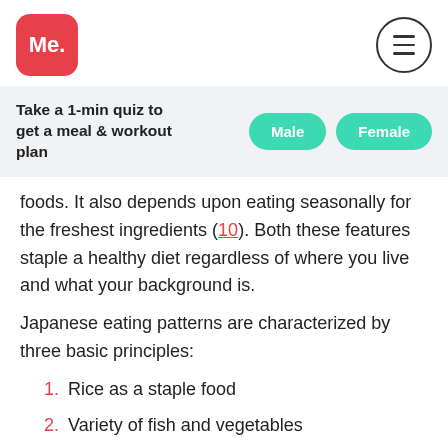Me.
Take a 1-min quiz to get a meal & workout plan
foods. It also depends upon eating seasonally for the freshest ingredients (10). Both these features staple a healthy diet regardless of where you live and what your background is.
Japanese eating patterns are characterized by three basic principles:
1. Rice as a staple food
2. Variety of fish and vegetables